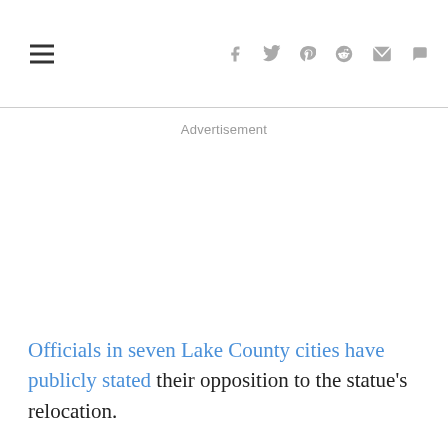Social share icons: facebook, twitter, pinterest, reddit, email, comment
Advertisement
Officials in seven Lake County cities have publicly stated their opposition to the statue's relocation.